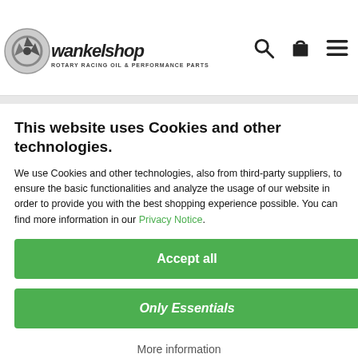WANKELSHOP - ROTARY RACING OIL & PERFORMANCE PARTS
This website uses Cookies and other technologies.
We use Cookies and other technologies, also from third-party suppliers, to ensure the basic functionalities and analyze the usage of our website in order to provide you with the best shopping experience possible. You can find more information in our Privacy Notice.
Accept all
Only Essentials
More information